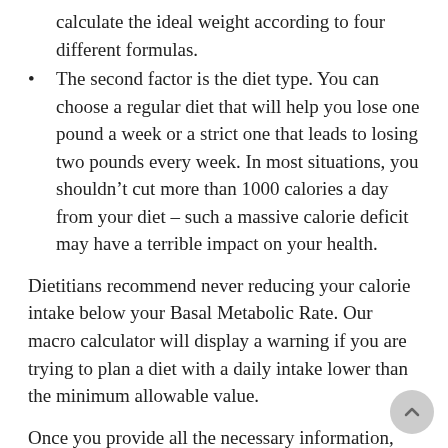calculate the ideal weight according to four different formulas.
The second factor is the diet type. You can choose a regular diet that will help you lose one pound a week or a strict one that leads to losing two pounds every week. In most situations, you shouldn’t cut more than 1000 calories a day from your diet – such a massive calorie deficit may have a terrible impact on your health.
Dietitians recommend never reducing your calorie intake below your Basal Metabolic Rate. Our macro calculator will display a warning if you are trying to plan a diet with a daily intake lower than the minimum allowable value.
Once you provide all the necessary information, two graphs will appear below the calculator. The